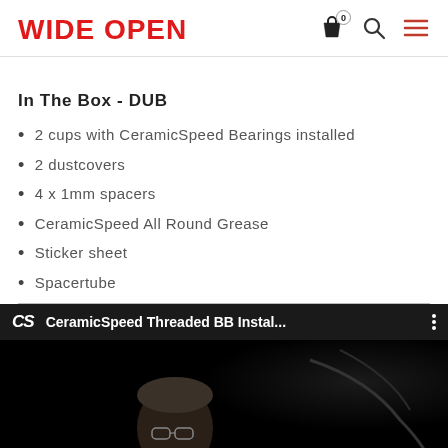WIDE OPEN
In The Box - DUB
2 cups with CeramicSpeed Bearings installed
2 dustcovers
4 x 1mm spacers
CeramicSpeed All Round Grease
Sticker sheet
Spacertube
[Figure (screenshot): Video thumbnail showing CeramicSpeed Threaded BB Install video with a man's face visible, dark background. CS logo and title bar at the top of the video player.]